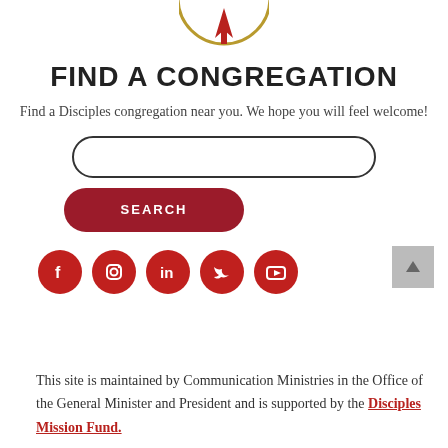[Figure (logo): Circular logo with gold border and red upward-pointing arrow/flame icon, partially cropped at top]
FIND A CONGREGATION
Find a Disciples congregation near you. We hope you will feel welcome!
[Figure (other): Search input box with rounded pill border and SEARCH button in dark red]
[Figure (other): Social media icons row: Facebook, Instagram, LinkedIn, Twitter, YouTube — all red circles with white icons. Back-to-top gray button on right.]
This site is maintained by Communication Ministries in the Office of the General Minister and President and is supported by the Disciples Mission Fund.